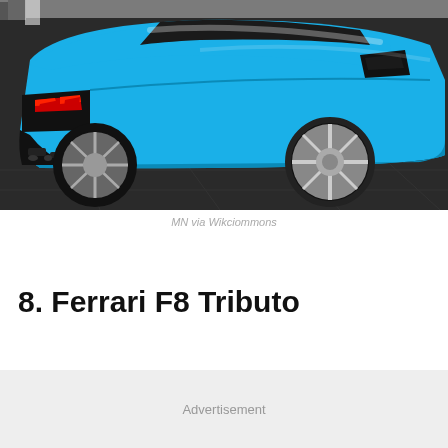[Figure (photo): A bright blue Corvette sports car (convertible) photographed from the rear-side angle inside what appears to be a car dealership showroom. The car has distinctive LED taillights, large silver alloy wheels, and black side vents.]
MN via Wikciommons
8. Ferrari F8 Tributo
Advertisement